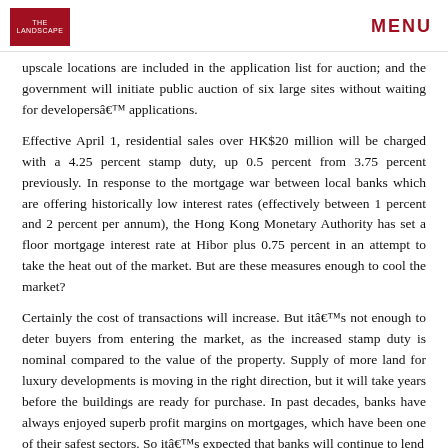THE LANDSCAPE | MENU
upscale locations are included in the application list for auction; and the government will initiate public auction of six large sites without waiting for developersâ€™ applications.
Effective April 1, residential sales over HK$20 million will be charged with a 4.25 percent stamp duty, up 0.5 percent from 3.75 percent previously. In response to the mortgage war between local banks which are offering historically low interest rates (effectively between 1 percent and 2 percent per annum), the Hong Kong Monetary Authority has set a floor mortgage interest rate at Hibor plus 0.75 percent in an attempt to take the heat out of the market. But are these measures enough to cool the market?
Certainly the cost of transactions will increase. But itâ€™s not enough to deter buyers from entering the market, as the increased stamp duty is nominal compared to the value of the property. Supply of more land for luxury developments is moving in the right direction, but it will take years before the buildings are ready for purchase. In past decades, banks have always enjoyed superb profit margins on mortgages, which have been one of their safest sectors. So itâ€™s expected that banks will continue to lend